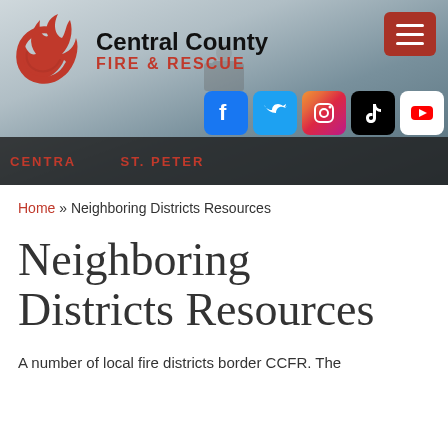[Figure (screenshot): Central County Fire & Rescue website header banner with logo, hamburger menu, firefighter silhouette background, and social media icons (Facebook, Twitter, Instagram, TikTok, YouTube)]
Home » Neighboring Districts Resources
Neighboring Districts Resources
A number of local fire districts border CCFR. The